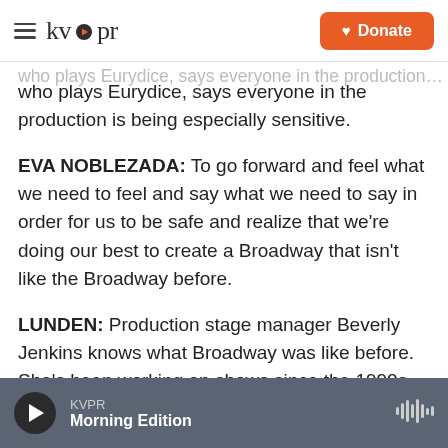kvpr | Donate
who plays Eurydice, says everyone in the production is being especially sensitive.
EVA NOBLEZADA: To go forward and feel what we need to feel and say what we need to say in order for us to be safe and realize that we're doing our best to create a Broadway that isn't like the Broadway before.
LUNDEN: Production stage manager Beverly Jenkins knows what Broadway was like before. She's been working on shows since the 1990s. She says there's a great vibe in rehearsal.
KVPR | Morning Edition